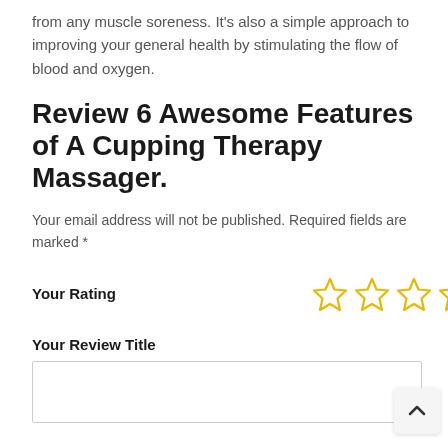from any muscle soreness. It’s also a simple approach to improving your general health by stimulating the flow of blood and oxygen.
Review 6 Awesome Features of A Cupping Therapy Massager.
Your email address will not be published. Required fields are marked *
Your Rating
[Figure (other): Five empty gold outline star icons representing a rating input]
Your Review Title
[Figure (other): Empty text input box for review title]